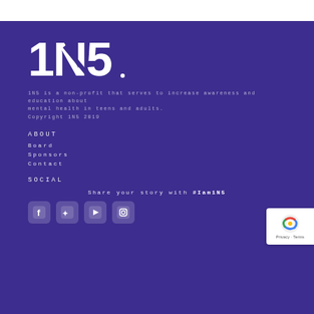[Figure (logo): 1N5 logo in white text on purple background]
1N5 is a non-profit that serves to increase awareness and education about mental health in teens and adults.
Copyright 1N5 2019
ABOUT
Board
Sponsors
Contact
SOCIAL
Share your story with #Iam1N5
[Figure (illustration): Social media icons: Facebook, Twitter, YouTube, Instagram]